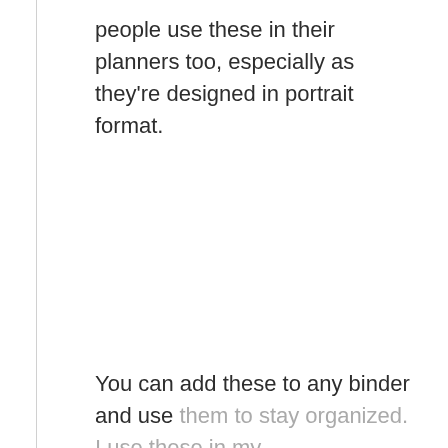people use these in their planners too, especially as they're designed in portrait format.
You can add these to any binder and use them to stay organized. I use these in my